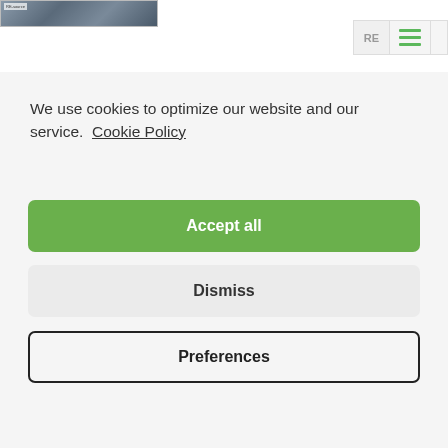[Figure (screenshot): Website header thumbnail showing a dark landscape/nature image]
[Figure (screenshot): Navigation bar with 'RE' text button, green hamburger menu icon, and right-side button]
We use cookies to optimize our website and our service.  Cookie Policy
[Figure (screenshot): Green 'Accept all' button]
[Figure (screenshot): Gray 'Dismiss' button]
[Figure (screenshot): Outlined 'Preferences' button with black border]